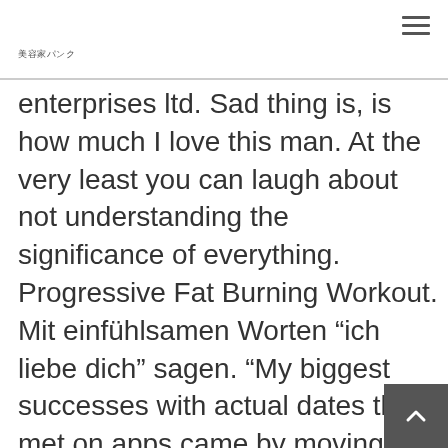美容家パンク
enterprises ltd. Sad thing is, is how much I love this man. At the very least you can laugh about not understanding the significance of everything. Progressive Fat Burning Workout. Mit einfühlsamen Worten “ich liebe dich” sagen. “My biggest successes with actual dates that I met on apps came by moving things from my phone into real life as soon as possible. A post shared by SuperNova Comedy @supernovacomedy. It helped that she really liked him. He is 45 years old now and I'm not even sure if he has any son